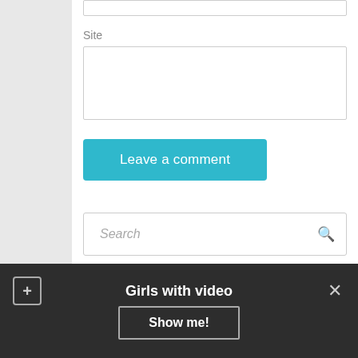Site
[Figure (screenshot): Text input field for Site URL]
[Figure (screenshot): Leave a comment button (teal/cyan colored)]
[Figure (screenshot): Search box with search icon placeholder]
Brilliant Chick in Argentina
Girls with video
Show me!